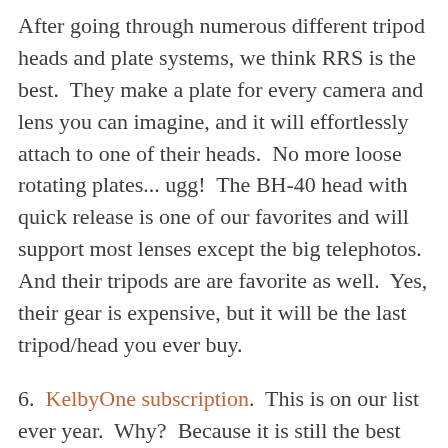After going through numerous different tripod heads and plate systems, we think RRS is the best.  They make a plate for every camera and lens you can imagine, and it will effortlessly attach to one of their heads.  No more loose rotating plates... ugg!  The BH-40 head with quick release is one of our favorites and will support most lenses except the big telephotos.  And their tripods are are favorite as well.  Yes, their gear is expensive, but it will be the last tripod/head you ever buy.
6.  KelbyOne subscription.  This is on our list ever year.  Why?  Because it is still the best photography training value out there.  Who else has hundreds of online training videos (now one